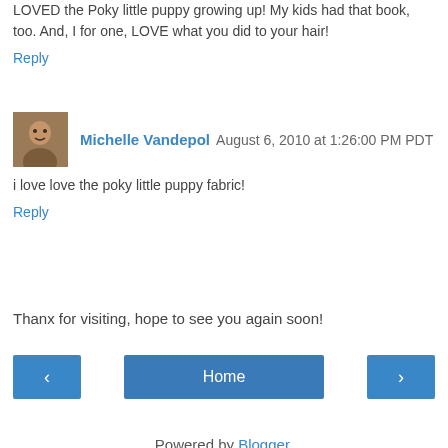LOVED the Poky little puppy growing up! My kids had that book, too. And, I for one, LOVE what you did to your hair!
Reply
Michelle Vandepol  August 6, 2010 at 1:26:00 PM PDT
i love love the poky little puppy fabric!
Reply
Thanx for visiting, hope to see you again soon!
‹
Home
›
View web version
Powered by Blogger.